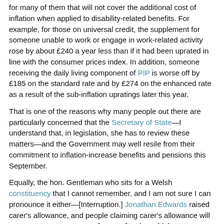for many of them that will not cover the additional cost of inflation when applied to disability-related benefits. For example, for those on universal credit, the supplement for someone unable to work or engage in work-related activity rose by about £240 a year less than if it had been uprated in line with the consumer prices index. In addition, someone receiving the daily living component of PIP is worse off by £185 on the standard rate and by £274 on the enhanced rate as a result of the sub-inflation upratings later this year.
That is one of the reasons why many people out there are particularly concerned that the Secretary of State—I understand that, in legislation, she has to review these matters—and the Government may well resile from their commitment to inflation-increase benefits and pensions this September.
Equally, the hon. Gentleman who sits for a Welsh constituency that I cannot remember, and I am not sure I can pronounce it either—[Interruption.] Jonathan Edwards raised carer's allowance, and people claiming carer's allowance will not get any extra support. Carers often have higher energy bills because of their caring responsibilities, yet people in receipt of carer's allowance—remember that they provide care for at least 35 hours a week and earn less than £132 a week—are likely to be hit hard without additional support. Why were carers left out of this package?